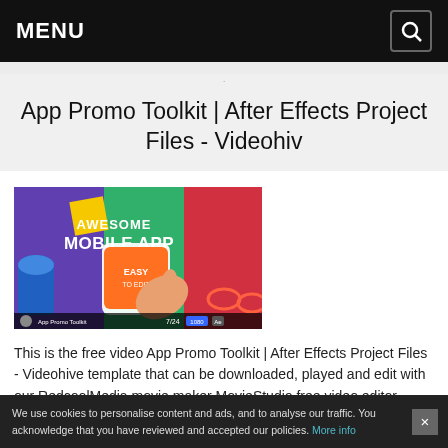MENU
App Promo Toolkit | After Effects Project Files - Videohiv
[Figure (screenshot): Thumbnail screenshot of App Promo Toolkit video template showing a mobile app promo with colorful background, a hand pointing at a phone, text saying AWESOME MOBILE APP and EASY TO EDIT, with 7/24 and 1080 indicators at bottom]
This is the free video App Promo Toolkit | After Effects Project Files - Videohive template that can be downloaded, played and edit with our RedcoolMedia movie maker MovieStudio free video editor online and AudioStudio free audio editor online
We use cookies to personalise content and ads, and to analyse our traffic. You acknowledge that you have reviewed and accepted our policies. More info